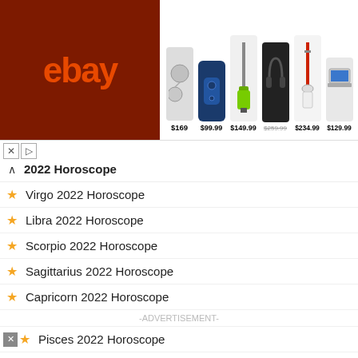[Figure (screenshot): eBay advertisement banner showing logo and 6 products with prices: $169, $99.99, $149.99, $259.99 (strikethrough), $234.99, $129.99]
2022 Horoscope (collapse arrow)
Virgo 2022 Horoscope
Libra 2022 Horoscope
Scorpio 2022 Horoscope
Sagittarius 2022 Horoscope
Capricorn 2022 Horoscope
-ADVERTISEMENT-
Pisces 2022 Horoscope
[Figure (screenshot): Video thumbnail on black background showing white circle graphic and gold dot, with title: How To Open 7 Chakras - Meditation and Healing - SunSigns.Org]
Tiger 2022 Horoscope
Rabbit 2022 Horoscope
Dragon 2022 Horoscope
Snake 2022 Horoscope (partial)